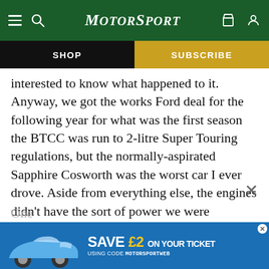MotorSport
SHOP
SUBSCRIBE
interested to know what happened to it. Anyway, we got the works Ford deal for the following year for what was the first season the BTCC was run to 2-litre Super Touring regulations, but the normally-aspirated Sapphire Cosworth was the worst car I ever drove. Aside from everything else, the engines didn’t have the sort of power we were expecting and most of the time we didn’t get near the BMWs. It was terrible, a complete waste of time.”
One
[Figure (screenshot): Advertisement banner: blue background with a Porsche 911 car image and text 'SAVE £2 ON YOUR TICKET USING CODE MOTORSPORTWEB']